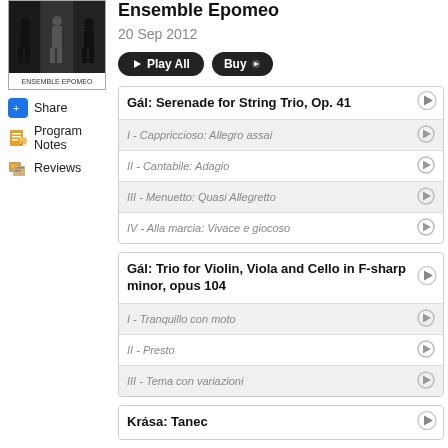[Figure (photo): Album cover for Ensemble Epomeo showing musicians in black and white with text 'ENSEMBLE EPOMEO' at bottom]
Share
Program Notes
Reviews
Ensemble Epomeo
20 Sep 2012
Play All  Buy
Gál: Serenade for String Trio, Op. 41
I - Cappriccioso: Allegro assai
II - Cantabile: Adagio
III - Menuetto: Quasi Allegretto
IV - Alla marcia: Vivace e giocoso
Gál: Trio for Violin, Viola and Cello in F-sharp minor, opus 104
I - Tranquillo con moto
II - Presto
III - Tema con variazioni
Krása: Tanec